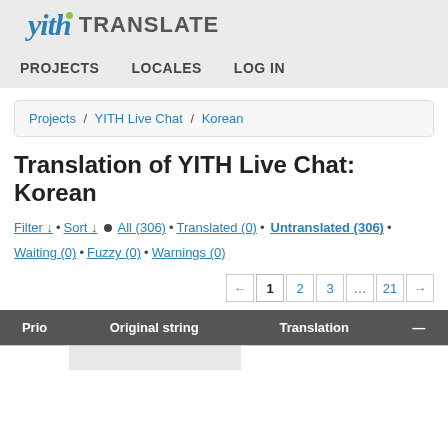yith TRANSLATE
PROJECTS   LOCALES   LOG IN
Projects / YITH Live Chat / Korean
Translation of YITH Live Chat: Korean
Filter ↓ • Sort ↓ ● All (306) • Translated (0) • Untranslated (306) • Waiting (0) • Fuzzy (0) • Warnings (0)
| Prio | Original string | Translation | — |
| --- | --- | --- | --- |